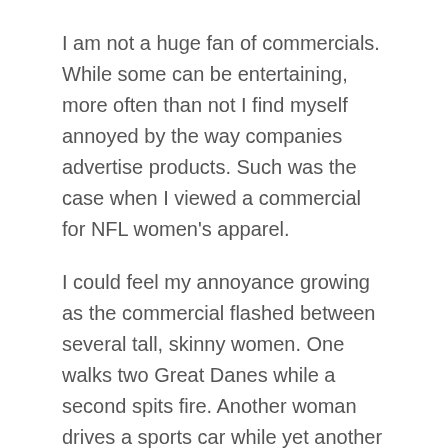I am not a huge fan of commercials. While some can be entertaining, more often than not I find myself annoyed by the way companies advertise products. Such was the case when I viewed a commercial for NFL women's apparel.
I could feel my annoyance growing as the commercial flashed between several tall, skinny women. One walks two Great Danes while a second spits fire. Another woman drives a sports car while yet another walks into a club full of paparazzi. Everything happens in slow motion, of course, as the women flaunt their NFL apparel.
As the commercial concludes I look to my friend, another female football fan, and we both roll our eyes.